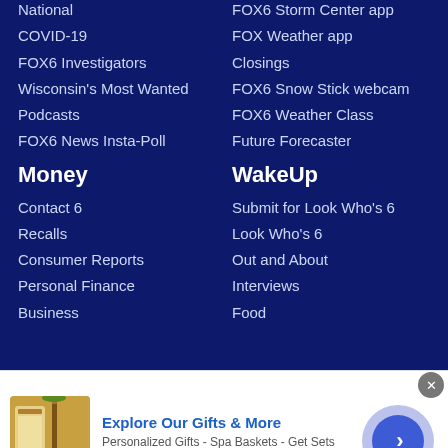National
COVID-19
FOX6 Investigators
Wisconsin's Most Wanted
Podcasts
FOX6 News Insta-Poll
Money
Contact 6
Recalls
Consumer Reports
Personal Finance
Business
FOX6 Storm Center app
FOX Weather app
Closings
FOX6 Snow Stick webcam
FOX6 Weather Class
Future Forecaster
WakeUp
Submit for Look Who's 6
Look Who's 6
Out and About
Interviews
Food
[Figure (infographic): Advertisement banner for 1800flowers.com: Explore Our Gifts & More. Personalized Gifts - Spa Baskets - Get Sets. www.1800flowers.com. Shows gift product image and a circular play/next button.]